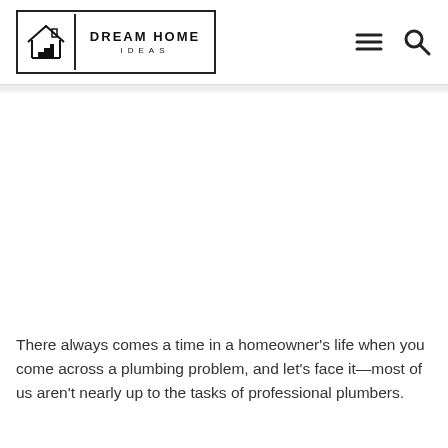[Figure (logo): Dream Home Ideas logo with house icon on left and brand name on right]
[Figure (other): Navigation icons: hamburger menu and search]
[Figure (other): Advertisement or blank area below header]
There always comes a time in a homeowner’s life when you come across a plumbing problem, and let’s face it—most of us aren’t nearly up to the tasks of professional plumbers.